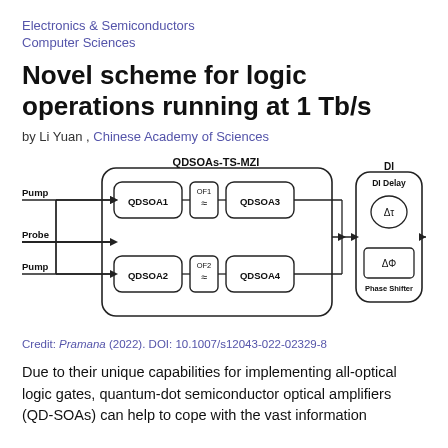Electronics & Semiconductors
Computer Sciences
Novel scheme for logic operations running at 1 Tb/s
by Li Yuan , Chinese Academy of Sciences
[Figure (schematic): Block diagram of QDSOAs-TS-MZI system with QDSOA1, QDSOA2, QDSOA3, QDSOA4, OF1, OF2 filters, connected to a DI (Delay Interferometer) block containing DI Delay (Δτ) and Phase Shifter (ΔΦ), with Pump, Probe, Pump inputs and Output Signal output.]
Credit: Pramana (2022). DOI: 10.1007/s12043-022-02329-8
Due to their unique capabilities for implementing all-optical logic gates, quantum-dot semiconductor optical amplifiers (QD-SOAs) can help to cope with the vast information